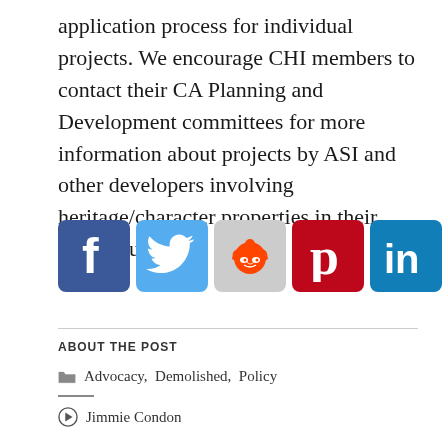application process for individual projects. We encourage CHI members to contact their CA Planning and Development committees for more information about projects by ASI and other developers involving heritage/character properties in their neighbourhoods.
[Figure (infographic): Row of six social media sharing icons: Facebook (blue), Twitter (light blue), Reddit (grey/orange), Pinterest (red), LinkedIn (dark blue/teal), Email (grey)]
ABOUT THE POST
Advocacy, Demolished, Policy
Jimmie Condon